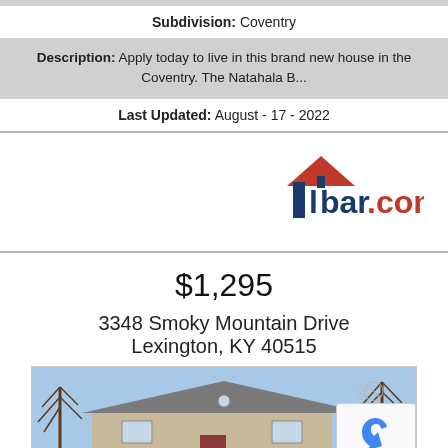Subdivision: Coventry
Description: Apply today to live in this brand new house in the Coventry. The Natahala B...
Last Updated: August - 17 - 2022
[Figure (logo): lbar.com real estate logo with red house roof icon and blue/red text]
$1,295
3348 Smoky Mountain Drive Lexington, KY 40515
[Figure (photo): Exterior photo of a single-story brick ranch house with bare trees in front, blue sky background]